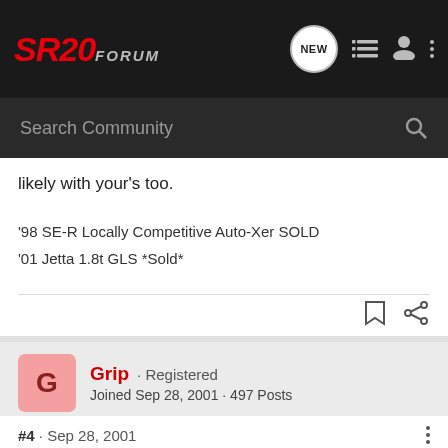SR20FORUM
likely with your's too.
'98 SE-R Locally Competitive Auto-Xer SOLD
'01 Jetta 1.8t GLS *Sold*
Grip · Registered
Joined Sep 28, 2001 · 497 Posts
#4 · Sep 28, 2001
No I don't think you have to keep them, but I would. They are there to insulate and prevent squeeks and other sounds. (there would be metal to metal contact without them.)